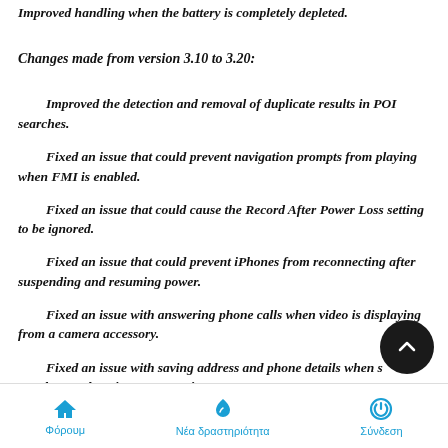Improved handling when the battery is completely depleted.
Changes made from version 3.10 to 3.20:
Improved the detection and removal of duplicate results in POI searches.
Fixed an issue that could prevent navigation prompts from playing when FMI is enabled.
Fixed an issue that could cause the Record After Power Loss setting to be ignored.
Fixed an issue that could prevent iPhones from reconnecting after suspending and resuming power.
Fixed an issue with answering phone calls when video is displaying from a camera accessory.
Fixed an issue with saving address and phone details when saving TruckDown locations as Favorites.
Φόρουμ   Νέα δραστηριότητα   Σύνδεση